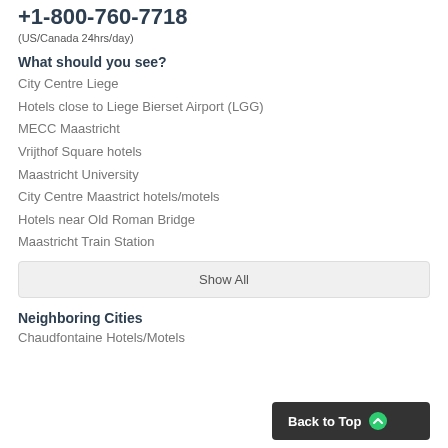+1-800-760-7718
(US/Canada 24hrs/day)
What should you see?
City Centre Liege
Hotels close to Liege Bierset Airport (LGG)
MECC Maastricht
Vrijthof Square hotels
Maastricht University
City Centre Maastrict hotels/motels
Hotels near Old Roman Bridge
Maastricht Train Station
Show All
Neighboring Cities
Chaudfontaine Hotels/Motels
Back to Top